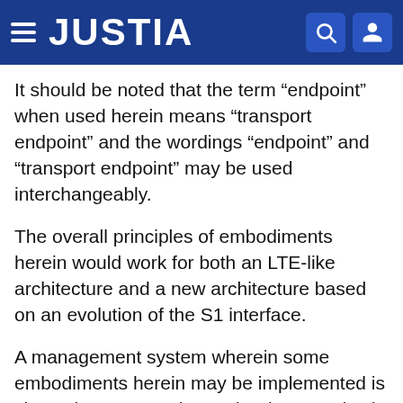JUSTIA
It should be noted that the term “endpoint” when used herein means “transport endpoint” and the wordings “endpoint” and “transport endpoint” may be used interchangeably.
The overall principles of embodiments herein would work for both an LTE-like architecture and a new architecture based on an evolution of the S1 interface.
A management system wherein some embodiments herein may be implemented is shown in FIG. 16. The Node Elements (NE), also referred to as eNodeB, are managed by a Domain Manager (DM), also referred to as the operation and support system (OSS). A DM may further be managed by a Network Manager (NM). Two NEs are interfaced by X2, whereas the interface between two DMs is referred to as Interface (Itf)-Peer to Peer (P2P). The management system may configure the NEs